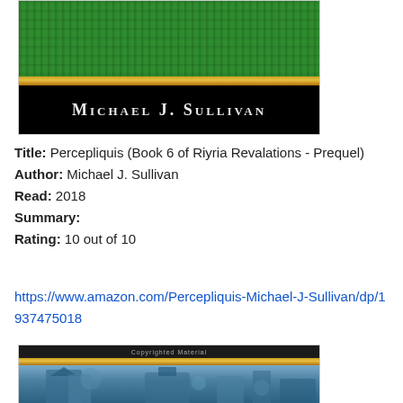[Figure (photo): Top portion of a book cover showing green textured background, gold stripe, and black band with author name 'MICHAEL J. SULLIVAN' in white serif text]
Title: Percepliquis (Book 6 of Riyria Revalations - Prequel)
Author: Michael J. Sullivan
Read: 2018
Summary:
Rating: 10 out of 10
https://www.amazon.com/Percepliquis-Michael-J-Sullivan/dp/1937475018
[Figure (photo): Bottom portion of a book cover showing a dark band with 'Copyrighted Material' text, gold stripe, and blue-toned fantasy scene with castle/building illustration]